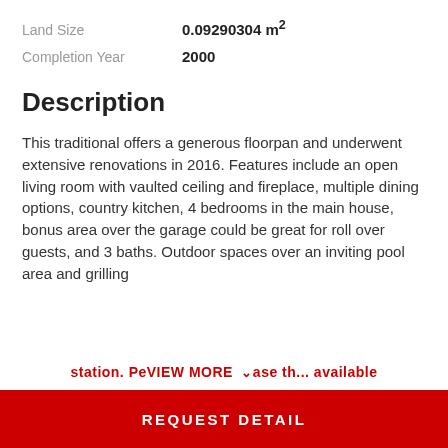Land Size  0.09290304 m²
Completion Year  2000
Description
This traditional offers a generous floorpan and underwent extensive renovations in 2016. Features include an open living room with vaulted ceiling and fireplace, multiple dining options, country kitchen, 4 bedrooms in the main house, bonus area over the garage could be great for roll over guests, and 3 baths. Outdoor spaces over an inviting pool area and grilling station. Perfect for...  VIEW MORE
REQUEST DETAIL